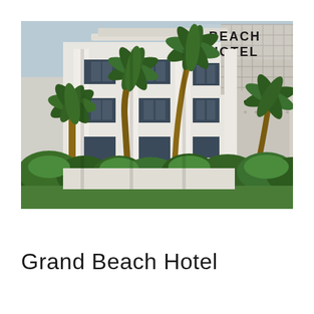[Figure (photo): Exterior photograph of the Grand Beach Hotel building, showing a multi-story white modern structure with large white columns, palm trees in the foreground, and signage reading 'BEACH HOTEL' visible at the top of the building.]
Grand Beach Hotel